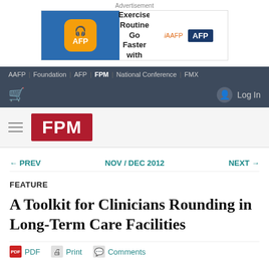Advertisement
[Figure (other): AFP Podcast advertisement banner: 'Make Your Exercise Routine Go Faster with AFP Podcast' with AAFP and AFP logos]
AAFP | Foundation | AFP | FPM | National Conference | FMX
Log In
FPM
← PREV    NOV / DEC 2012    NEXT →
FEATURE
A Toolkit for Clinicians Rounding in Long-Term Care Facilities
PDF   Print   Comments